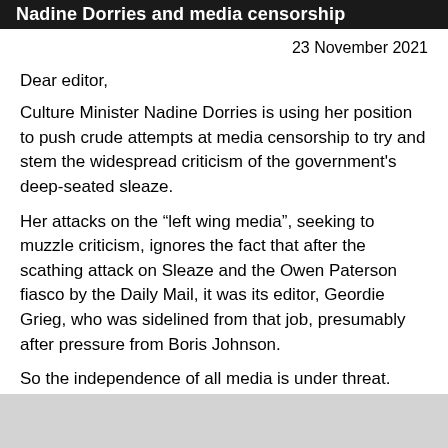Nadine Dorries and media censorship
23 November 2021
Dear editor,
Culture Minister Nadine Dorries is using her position to push crude attempts at media censorship to try and stem the widespread criticism of the government's deep-seated sleaze.
Her attacks on the “left wing media”, seeking to muzzle criticism, ignores the fact that after the scathing attack on Sleaze and the Owen Paterson fiasco by the Daily Mail, it was its editor, Geordie Grieg, who was sidelined from that job, presumably after pressure from Boris Johnson.
So the independence of all media is under threat.